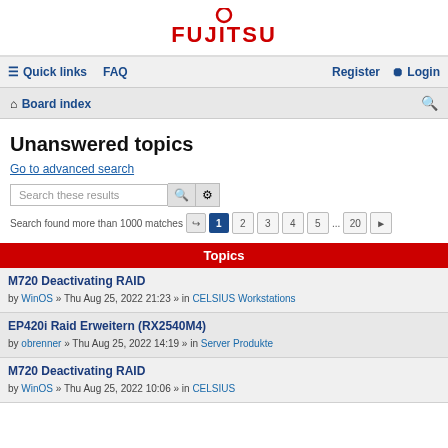[Figure (logo): Fujitsu logo in red with stylized circle above text]
Quick links  FAQ  Register  Login
Board index
Unanswered topics
Go to advanced search
Search these results
Search found more than 1000 matches  1  2  3  4  5  ...  20
| Topics |
| --- |
| M720 Deactivating RAID
by WinOS » Thu Aug 25, 2022 21:23 » in CELSIUS Workstations |
| EP420i Raid Erweitern (RX2540M4)
by obrenner » Thu Aug 25, 2022 14:19 » in Server Produkte |
| M720 Deactivating RAID
by WinOS » Thu Aug 25, 2022 10:06 » in CELSIUS |